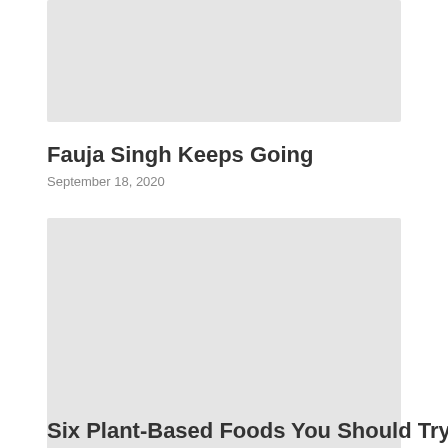[Figure (photo): Top image placeholder — light gray rectangle representing a photo]
Fauja Singh Keeps Going
September 18, 2020
[Figure (photo): Middle image placeholder — large light gray rectangle representing a photo]
Six Plant-Based Foods You Should Try